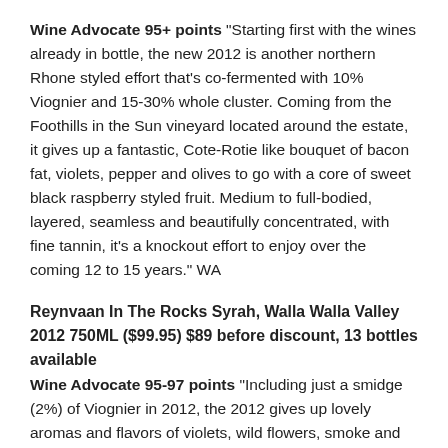Wine Advocate 95+ points "Starting first with the wines already in bottle, the new 2012 is another northern Rhone styled effort that's co-fermented with 10% Viognier and 15-30% whole cluster. Coming from the Foothills in the Sun vineyard located around the estate, it gives up a fantastic, Cote-Rotie like bouquet of bacon fat, violets, pepper and olives to go with a core of sweet black raspberry styled fruit. Medium to full-bodied, layered, seamless and beautifully concentrated, with fine tannin, it's a knockout effort to enjoy over the coming 12 to 15 years." WA
Reynvaan In The Rocks Syrah, Walla Walla Valley 2012 750ML ($99.95) $89 before discount, 13 bottles available
Wine Advocate 95-97 points "Including just a smidge (2%) of Viognier in 2012, the 2012 gives up lovely aromas and flavors of violets, wild flowers, smoke and assorted purple styled fruits to go with a chewy, rich and